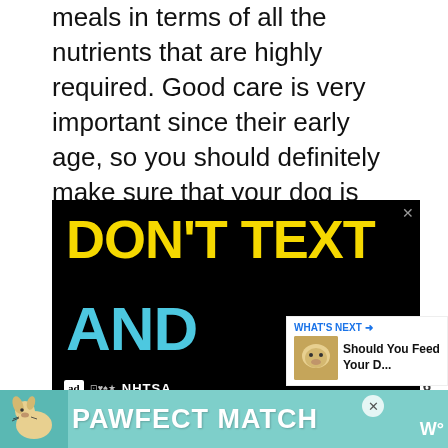meals in terms of all the nutrients that are highly required. Good care is very important since their early age, so you should definitely make sure that your dog is happy and healthy. You will be happy in that case, too.
[Figure (screenshot): Advertisement banner with black background showing 'DON'T TEXT AND' in large yellow and cyan text with a red car emoji, labeled as NHTSA ad. Below it a 'PAWFECT MATCH' teal banner ad with a dog image.]
[Figure (infographic): Sidebar showing heart icon with count 6 and share icon, plus 'WHAT'S NEXT' panel showing 'Should You Feed Your D...' with dog thumbnail.]
WHAT'S NEXT → Should You Feed Your D...
PAWFECT MATCH